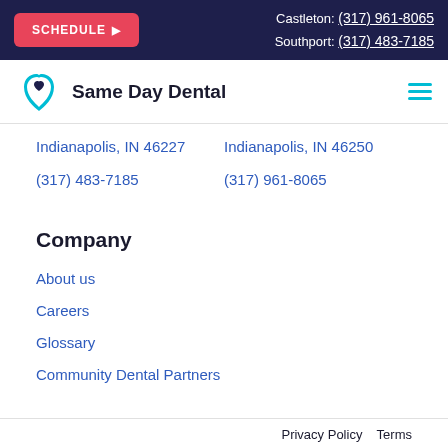SCHEDULE ▶ | Castleton: (317) 961-8065 | Southport: (317) 483-7185
[Figure (logo): Same Day Dental tooth logo with heart]
Same Day Dental
Indianapolis, IN 46227
Indianapolis, IN 46250
(317) 483-7185
(317) 961-8065
Company
About us
Careers
Glossary
Community Dental Partners
Privacy Policy   Terms